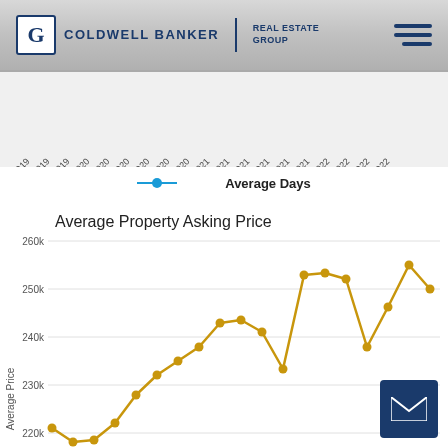[Figure (logo): Coldwell Banker Real Estate Group logo with hamburger menu icon]
[Figure (continuous-plot): X-axis date labels from Aug 2019 to Aug 2022, rotated 45 degrees]
Average Days
[Figure (line-chart): Line chart showing average property asking price from Aug 2019 to Aug 2022. Y-axis shows values from 220k to 260k. Gold/yellow line with dots showing price trend starting around 221k, rising through 2020-2021 to peaks around 253-255k, dropping to ~238k, then rising to peak ~255k in early 2022, fluctuating and ending around 249k in Aug 2022.]